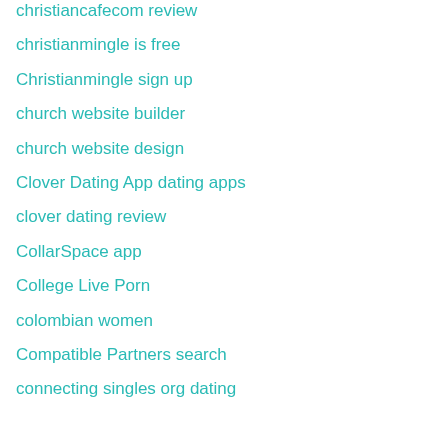christiancafecom review
christianmingle is free
Christianmingle sign up
church website builder
church website design
Clover Dating App dating apps
clover dating review
CollarSpace app
College Live Porn
colombian women
Compatible Partners search
connecting singles org dating